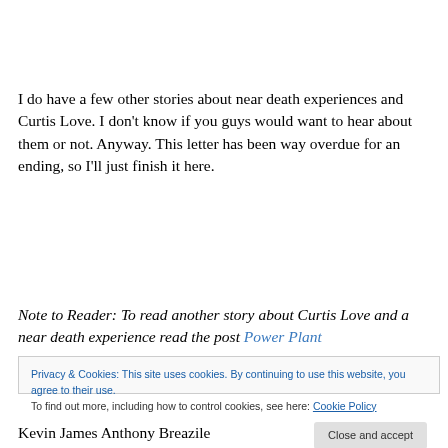I do have a few other stories about near death experiences and Curtis Love.  I don't know if you guys would want to hear about them or not.  Anyway.  This letter has been way overdue for an ending, so I'll just finish it here.
Note to Reader:  To read another story about Curtis Love and a near death experience read the post Power Plant
Privacy & Cookies: This site uses cookies. By continuing to use this website, you agree to their use.
To find out more, including how to control cookies, see here: Cookie Policy
Kevin James Anthony Breazile